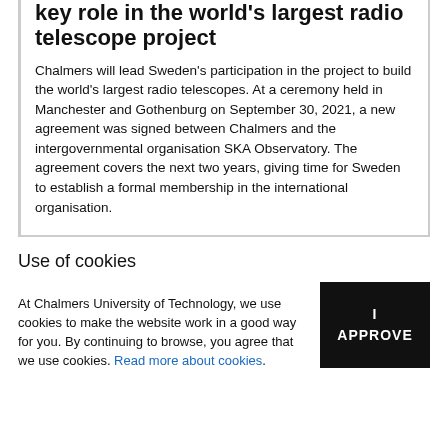key role in the world's largest radio telescope project
Chalmers will lead Sweden's participation in the project to build the world's largest radio telescopes. At a ceremony held in Manchester and Gothenburg on September 30, 2021, a new agreement was signed between Chalmers and the intergovernmental organisation SKA Observatory. The agreement covers the next two years, giving time for Sweden to establish a formal membership in the international organisation.
Use of cookies
At Chalmers University of Technology, we use cookies to make the website work in a good way for you. By continuing to browse, you agree that we use cookies. Read more about cookies.